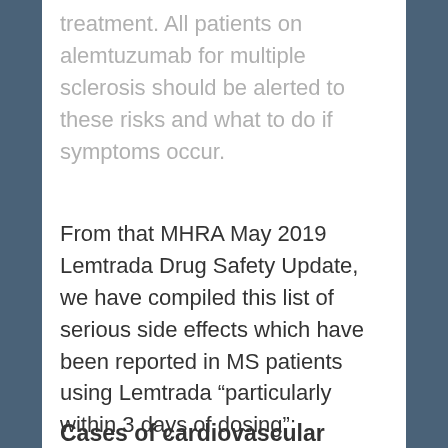treatment. All patients on alemtuzumab for multiple sclerosis should be alerted to these risks and what to do if symptoms occur.
From that MHRA May 2019 Lemtrada Drug Safety Update, we have compiled this list of serious side effects which have been reported in MS patients using Lemtrada “particularly within 3 days of dosing”:
Cases of cardiovascular